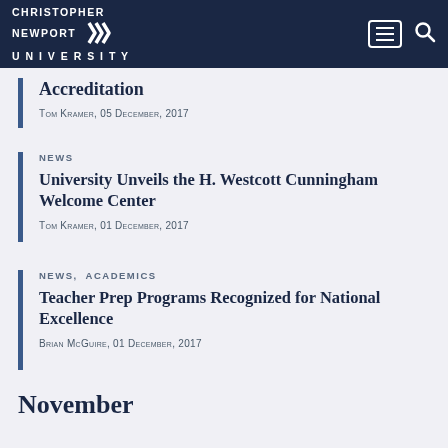Christopher Newport University
Accreditation
Tom Kramer, 05 December, 2017
NEWS
University Unveils the H. Westcott Cunningham Welcome Center
Tom Kramer, 01 December, 2017
NEWS,  ACADEMICS
Teacher Prep Programs Recognized for National Excellence
Brian McGuire, 01 December, 2017
November